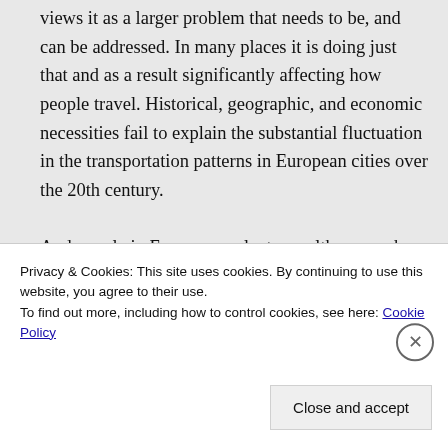views it as a larger problem that needs to be, and can be addressed. In many places it is doing just that and as a result significantly affecting how people travel. Historical, geographic, and economic necessities fail to explain the substantial fluctuation in the transportation patterns in European cities over the 20th century.

And people in Europe are plenty wealthy enough for cars, at least if cars were to cost the same. They have, however, made cars
Privacy & Cookies: This site uses cookies. By continuing to use this website, you agree to their use.
To find out more, including how to control cookies, see here: Cookie Policy